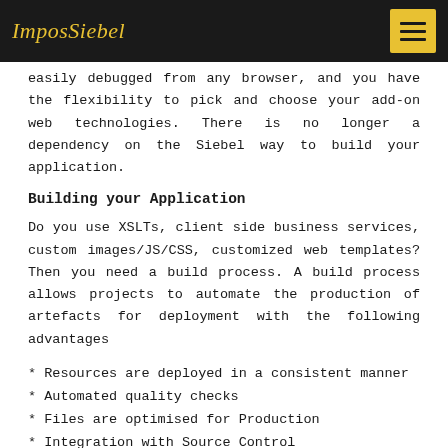ImposSiebel
easily debugged from any browser, and you have the flexibility to pick and choose your add-on web technologies. There is no longer a dependency on the Siebel way to build your application.
Building your Application
Do you use XSLTs, client side business services, custom images/JS/CSS, customized web templates? Then you need a build process. A build process allows projects to automate the production of artefacts for deployment with the following advantages
* Resources are deployed in a consistent manner
* Automated quality checks
* Files are optimised for Production
* Integration with Source Control
* Automated unit testing